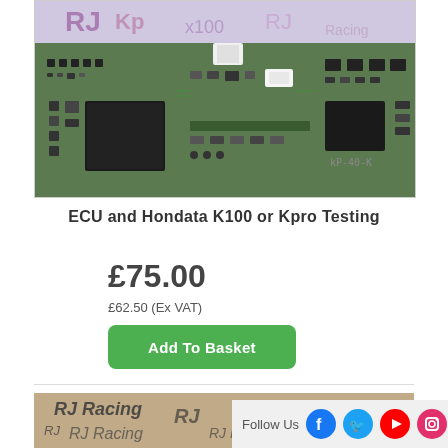[Figure (photo): Close-up photo of a green circuit board / ECU with black chips, components, and a white ribbon cable connector visible]
ECU and Hondata K100 or Kpro Testing
£75.00
£62.50 (Ex VAT)
Add To Basket
[Figure (photo): Partial photo showing a dark surface with handwritten or printed 'RJ Racing' style branding text]
Follow Us